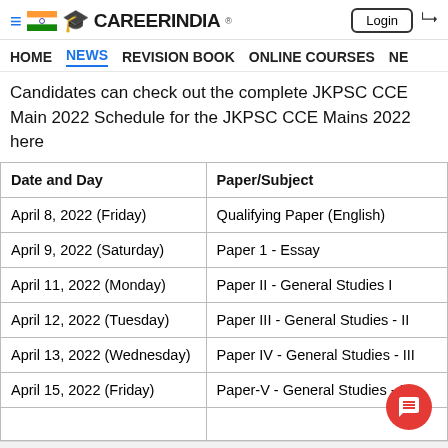CareerIndia — Login
HOME  NEWS  REVISION BOOK  ONLINE COURSES  NE
Candidates can check out the complete JKPSC CCE Main 2022 Schedule for the JKPSC CCE Mains 2022 here
| Date and Day | Paper/Subject |
| --- | --- |
| April 8, 2022 (Friday) | Qualifying Paper (English) |
| April 9, 2022 (Saturday) | Paper 1 - Essay |
| April 11, 2022 (Monday) | Paper II - General Studies I |
| April 12, 2022 (Tuesday) | Paper III - General Studies - II |
| April 13, 2022 (Wednesday) | Paper IV - General Studies - III |
| April 15, 2022 (Friday) | Paper-V - General Studies - IV |